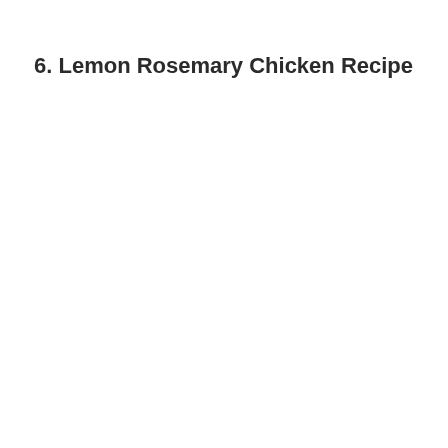6. Lemon Rosemary Chicken Recipe